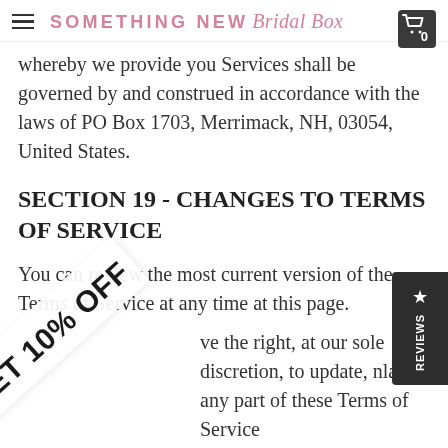SOMETHING NEW Bridal Box
whereby we provide you Services shall be governed by and construed in accordance with the laws of PO Box 1703, Merrimack, NH, 03054, United States.
SECTION 19 - CHANGES TO TERMS OF SERVICE
You can review the most current version of the Terms of Service at any time at this page.
ve the right, at our sole discretion, to update, nlace any part of these Terms of Service